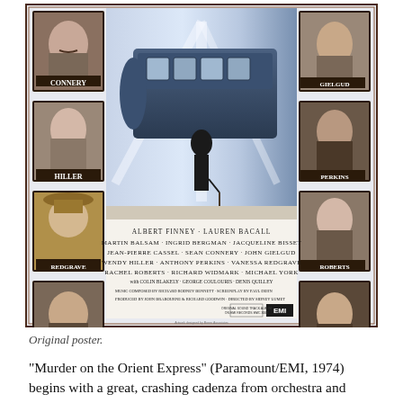[Figure (illustration): Original theatrical poster for 'Murder on the Orient Express' (Paramount/EMI, 1974) showing cast photos in ornate frames on left and right sides: Connery, Hiller, Redgrave, Widmark on left; Gielgud, Perkins, Roberts, York on right. Center shows a train and silhouetted figure with cast credits listing Albert Finney, Lauren Bacall, Martin Balsam, Ingrid Bergman, Jacqueline Bisset, Jean-Pierre Cassel, Sean Connery, John Gielgud, Wendy Hiller, Anthony Perkins, Vanessa Redgrave, Rachel Roberts, Richard Widmark, Michael York, and others. EMI logo at bottom right.]
Original poster.
“Murder on the Orient Express” (Paramount/EMI, 1974) begins with a great, crashing cadenza from orchestra and grand piano, which resolves into the haunting main theme.